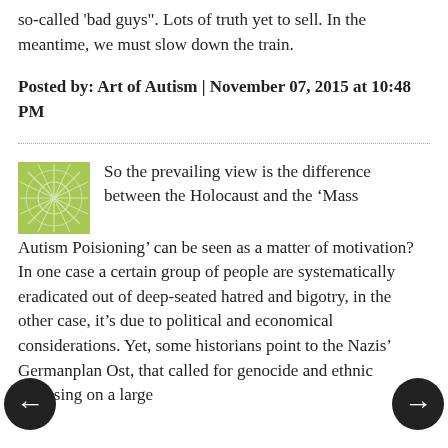so-called 'bad guys". Lots of truth yet to sell. In the meantime, we must slow down the train.
Posted by: Art of Autism | November 07, 2015 at 10:48 PM
So the prevailing view is the difference between the Holocaust and the ‘Mass Autism Poisioning’ can be seen as a matter of motivation? In one case a certain group of people are systematically eradicated out of deep-seated hatred and bigotry, in the other case, it’s due to political and economical considerations. Yet, some historians point to the Nazis’ Germanplan Ost, that called for genocide and ethnic cleansing on a large